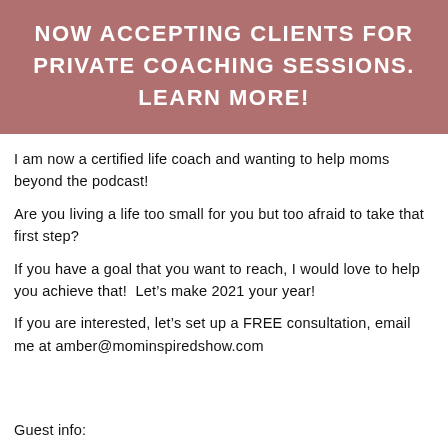NOW ACCEPTING CLIENTS FOR PRIVATE COACHING SESSIONS. LEARN MORE!
I am now a certified life coach and wanting to help moms beyond the podcast!
Are you living a life too small for you but too afraid to take that first step?
If you have a goal that you want to reach, I would love to help you achieve that!  Let’s make 2021 your year!
If you are interested, let’s set up a FREE consultation, email me at amber@mominspiredshow.com
Guest info: